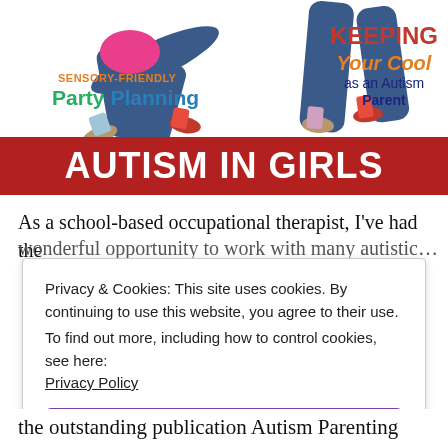[Figure (illustration): Magazine cover or blog header image showing a child jumping with text overlays: 'SENSORY-FRIENDLY Party Planning', 'KEEPING Your Cool as an Autism Parent', and a red banner reading 'AUTISM IN GIRLS']
As a school-based occupational therapist, I've had the
Privacy & Cookies: This site uses cookies. By continuing to use this website, you agree to their use. To find out more, including how to control cookies, see here: Privacy Policy
Close and accept
the outstanding publication Autism Parenting